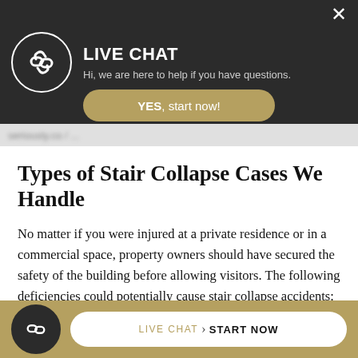[Figure (screenshot): Live chat popup overlay with dark background, company logo in circle, LIVE CHAT heading, subtitle text, and a gold YES start now button]
Types of Stair Collapse Cases We Handle
No matter if you were injured at a private residence or in a commercial space, property owners should have secured the safety of the building before allowing visitors. The following deficiencies could potentially cause stair collapse accidents:
Poor design – Failure to properly design a
[Figure (screenshot): Bottom live chat bar with gold background, company logo circle, LIVE CHAT and START NOW button]